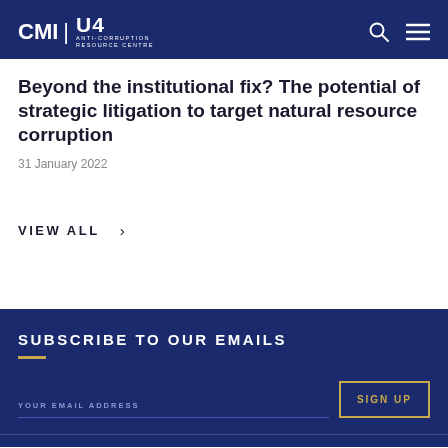CMI | U4 ANTI-CORRUPTION RESOURCE CENTRE
Beyond the institutional fix? The potential of strategic litigation to target natural resource corruption
31 January 2022
VIEW ALL >
SUBSCRIBE TO OUR EMAILS
YOUR EMAIL ADDRESS
SIGN UP